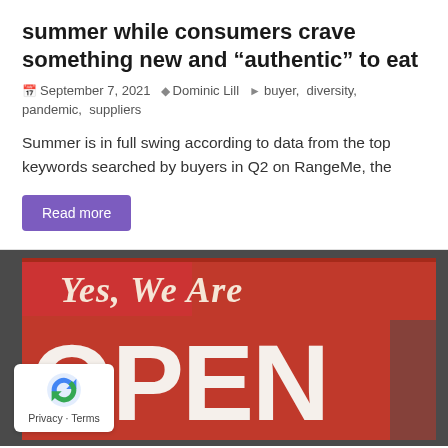summer while consumers crave something new and “authentic” to eat
September 7, 2021  Dominic Lill  buyer, diversity, pandemic, suppliers
Summer is in full swing according to data from the top keywords searched by buyers in Q2 on RangeMe, the
Read more
[Figure (photo): A red and white storefront sign reading 'Yes, We Are OPEN' visible through a glass door or window. A reCAPTCHA privacy badge with the Google reCAPTCHA logo is overlaid in the bottom-left corner with 'Privacy - Terms' text.]